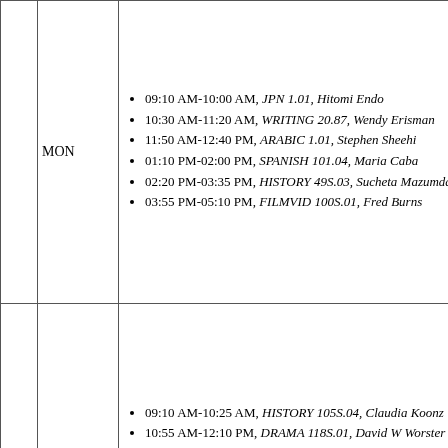|  | Day | Schedule |
| --- | --- | --- |
|  | MON | 09:10 AM-10:00 AM, JPN 1.01, Hitomi Endo | 10:30 AM-11:20 AM, WRITING 20.87, Wendy Erisman | 11:50 AM-12:40 PM, ARABIC 1.01, Stephen Sheehi | 01:10 PM-02:00 PM, SPANISH 101.04, Maria Caba | 02:20 PM-03:35 PM, HISTORY 49S.03, Sucheta Mazumdar | 03:55 PM-05:10 PM, FILMVID 100S.01, Fred Burns |
|  | TUES | 09:10 AM-10:25 AM, HISTORY 105S.04, Claudia Koonz | 10:55 AM-12:10 PM, DRAMA 118S.01, David W Worster | 12:40 PM-01:55 PM, DRAMA 103.01, David W Worster | 02:15 PM-03:30 PM, AALL 125.01, Hae-Young Kim | 08:00 PM-10:00 PM, FILMVID 111T.02, Annie Howell |